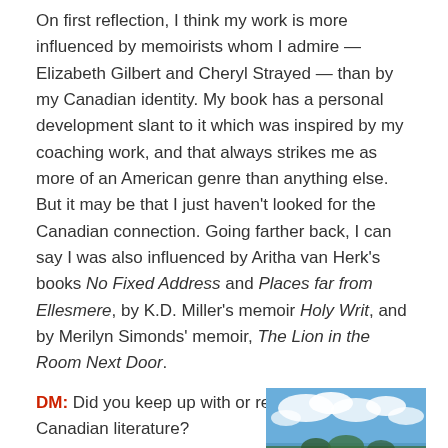On first reflection, I think my work is more influenced by memoirists whom I admire — Elizabeth Gilbert and Cheryl Strayed — than by my Canadian identity. My book has a personal development slant to it which was inspired by my coaching work, and that always strikes me as more of an American genre than anything else. But it may be that I just haven't looked for the Canadian connection. Going farther back, I can say I was also influenced by Aritha van Herk's books No Fixed Address and Places far from Ellesmere, by K.D. Miller's memoir Holy Writ, and by Merilyn Simonds' memoir, The Lion in the Room Next Door.
DM: Did you keep up with or read new Canadian literature? AG: I did have a Kindle, and English books are quite easy to pick up in Malaysia, but my reading was very haphazard. I bought a paperback
[Figure (photo): Outdoor photo showing rooftops of buildings with trees and ocean/water visible in the background under a blue sky with clouds — Gresik's ocean]
Gresik's ocean